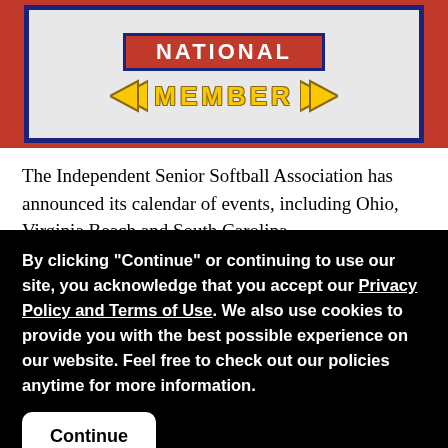[Figure (logo): Independent Senior Softball Association National Member logo with red background, blue-bordered grey badge, 'NATIONAL' banner in red and white, and 'MEMBER' text in yellow with arrow emblems]
The Independent Senior Softball Association has announced its calendar of events, including Ohio, Virginia Beach and South Carolina.
ISSA US Northern Championships, Cincinnati, OH - September 20, 21 & 22 - This is the 2nd year for this senior tournament at Cincy.  The tournament headquarters will be at the Mid-America Ballyard, a nice venue that the seniors really enjoyed last year.  The
By clicking "Continue" or continuing to use our site, you acknowledge that you accept our Privacy Policy and Terms of Use. We also use cookies to provide you with the best possible experience on our website. Feel free to check out our policies anytime for more information.